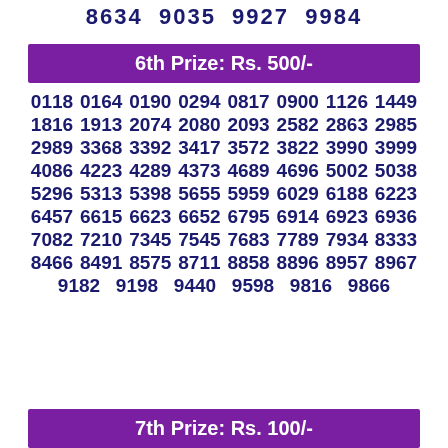8634  9035  9927  9984
6th Prize: Rs. 500/-
0118 0164 0190 0294 0817 0900 1126 1449 1816 1913 2074 2080 2093 2582 2863 2985 2989 3368 3392 3417 3572 3822 3990 3999 4086 4223 4289 4373 4689 4696 5002 5038 5296 5313 5398 5655 5959 6029 6188 6223 6457 6615 6623 6652 6795 6914 6923 6936 7082 7210 7345 7545 7683 7789 7934 8333 8466 8491 8575 8711 8858 8896 8957 8967 9182 9198 9440 9598 9816 9866
7th Prize: Rs. 100/-